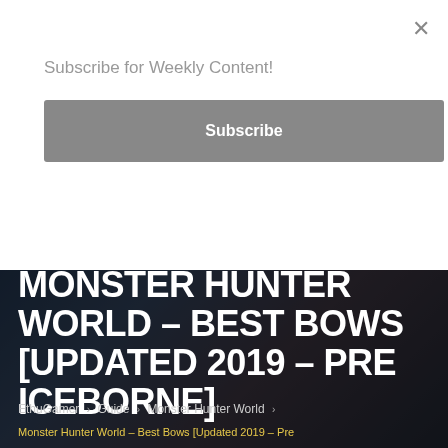×
Subscribe for Weekly Content!
Subscribe
MONSTER HUNTER WORLD – BEST BOWS [UPDATED 2019 – PRE ICEBORNE]
EthuGamer › Guide › Monster Hunter World ›
Monster Hunter World – Best Bows [Updated 2019 – Pre